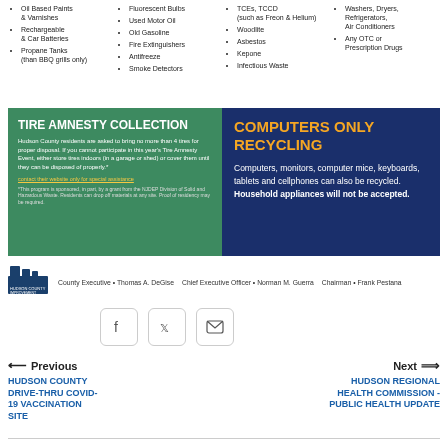Oil Based Paints & Varnishes
Rechargeable & Car Batteries
Propane Tanks (than BBQ grills only)
Fluorescent Bulbs
Used Motor Oil
Old Gasoline
Fire Extinguishers
Antifreeze
Smoke Detectors
TCEs, TCCD (such as Freon & Helium)
Woodlite
Asbestos
Kepone
Infectious Waste
Washers, Dryers, Refrigerators, Air Conditioners
Any OTC or Prescription Drugs
[Figure (infographic): Two-panel banner: left green panel titled TIRE AMNESTY COLLECTION with descriptive text; right navy blue panel titled COMPUTERS ONLY RECYCLING with descriptive text about accepted items.]
County Executive • Thomas A. DeGise   Chief Executive Officer • Norman M. Guerra   Chairman • Frank Pestana
[Figure (illustration): Social media share buttons: Facebook, Twitter, and Email icons in rounded square borders]
Previous
HUDSON COUNTY DRIVE-THRU COVID-19 VACCINATION SITE
Next
HUDSON REGIONAL HEALTH COMMISSION - PUBLIC HEALTH UPDATE
Other News in Home - Whats going on News Flash
EMERGENCY BLOOD DRIVE AT HARRISON COMMUNITY CENTER - THURSDAY, AUGUST